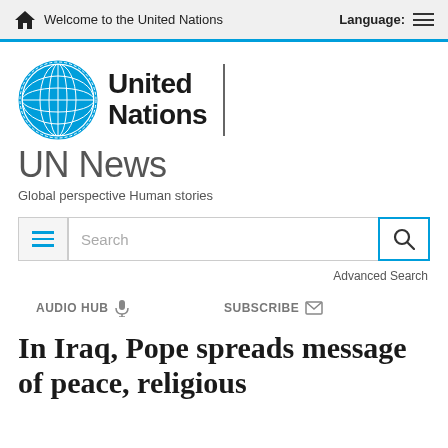Welcome to the United Nations    Language:
[Figure (logo): United Nations logo with globe and text 'United Nations']
UN News
Global perspective Human stories
Search   Advanced Search
AUDIO HUB   SUBSCRIBE
In Iraq, Pope spreads message of peace, religious tolerance and human dignity